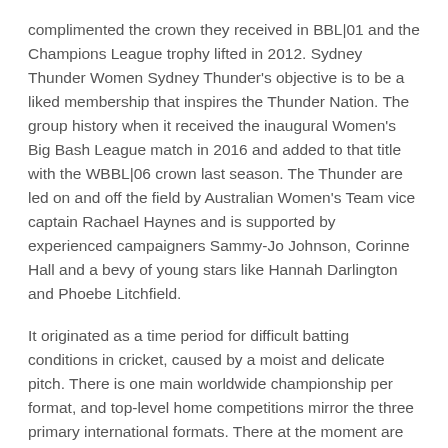complimented the crown they received in BBL|01 and the Champions League trophy lifted in 2012. Sydney Thunder Women Sydney Thunder's objective is to be a liked membership that inspires the Thunder Nation. The group history when it received the inaugural Women's Big Bash League match in 2016 and added to that title with the WBBL|06 crown last season. The Thunder are led on and off the field by Australian Women's Team vice captain Rachael Haynes and is supported by experienced campaigners Sammy-Jo Johnson, Corinne Hall and a bevy of young stars like Hannah Darlington and Phoebe Litchfield.
It originated as a time period for difficult batting conditions in cricket, caused by a moist and delicate pitch. There is one main worldwide championship per format, and top-level home competitions mirror the three primary international formats. There at the moment are numerous T20 leagues, which have spawned a "T20 freelancer" phenomenon. In order to begin batting the batter first adopts a batting stance.